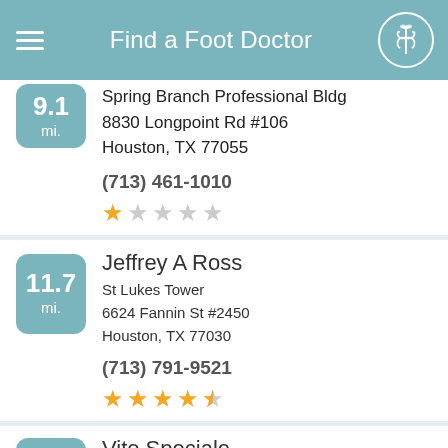Find a Foot Doctor
9.1 mi.
Spring Branch Professional Bldg
8830 Longpoint Rd #106
Houston, TX 77055
(713) 461-1010
[Figure (other): 1 out of 5 stars rating (one star filled, four empty)]
Jeffrey A Ross
11.7 mi.
St Lukes Tower
6624 Fannin St #2450
Houston, TX 77030
(713) 791-9521
[Figure (other): 4.5 out of 5 stars rating (four filled, one half, one empty)]
Vito Speciale
6.8 mi.
Podiatry Associates of Houston